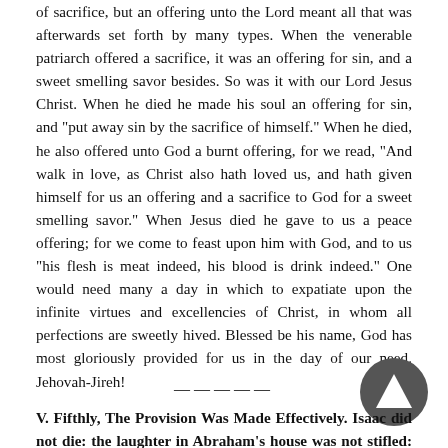of sacrifice, but an offering unto the Lord meant all that was afterwards set forth by many types. When the venerable patriarch offered a sacrifice, it was an offering for sin, and a sweet smelling savor besides. So was it with our Lord Jesus Christ. When he died he made his soul an offering for sin, and "put away sin by the sacrifice of himself." When he died, he also offered unto God a burnt offering, for we read, "And walk in love, as Christ also hath loved us, and hath given himself for us an offering and a sacrifice to God for a sweet smelling savor." When Jesus died he gave to us a peace offering; for we come to feast upon him with God, and to us "his flesh is meat indeed, his blood is drink indeed." One would need many a day in which to expatiate upon the infinite virtues and excellencies of Christ, in whom all perfections are sweetly hived. Blessed be his name, God has most gloriously provided for us in the day of our need. Jehovah-Jireh!
—————
V. Fifthly, The Provision Was Made Effectively. Isaac did not die: the laughter in Abraham's house was not stifled: there was